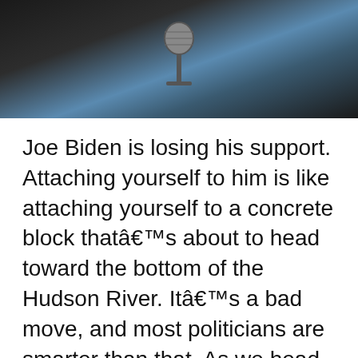[Figure (photo): A photo of a person speaking at a microphone, dark background with a blue panel visible]
Joe Biden is losing his support. Attaching yourself to him is like attaching yourself to a concrete block thatâ€™s about to head toward the bottom of the Hudson River. Itâ€™s a bad move, and most politicians are smarter than that. As we head to the midterms, many people are looking at the big picture. Regardless [â€¦]